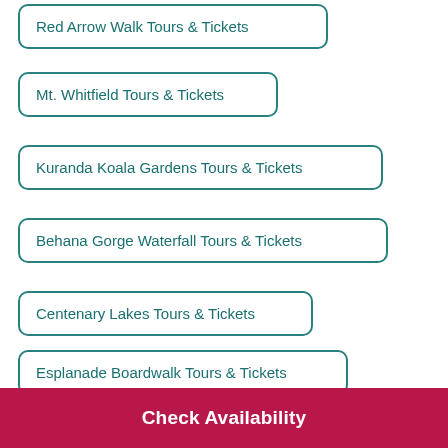Red Arrow Walk Tours & Tickets
Mt. Whitfield Tours & Tickets
Kuranda Koala Gardens Tours & Tickets
Behana Gorge Waterfall Tours & Tickets
Centenary Lakes Tours & Tickets
Esplanade Boardwalk Tours & Tickets
Cairns Cruise Port Tours & Tickets
Check Availability